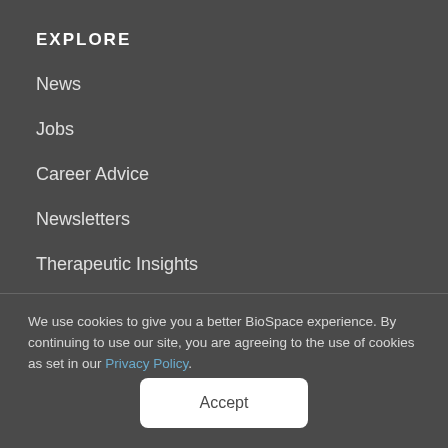EXPLORE
News
Jobs
Career Advice
Newsletters
Therapeutic Insights
RSS Feeds
We use cookies to give you a better BioSpace experience. By continuing to use our site, you are agreeing to the use of cookies as set in our Privacy Policy.
Accept